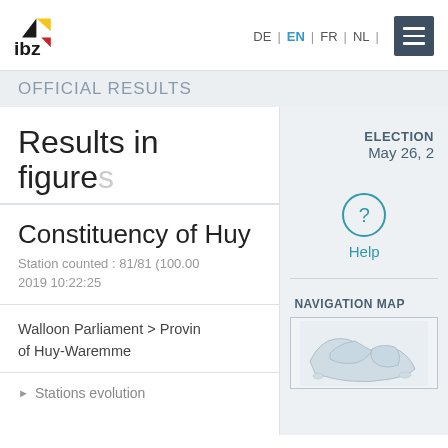[Figure (logo): IBZ logo with black, yellow, and red triangular shapes]
DE | EN | FR | NL
OFFICIAL RESULTS
Results in figures
ELECTION May 26, 2
Constituency of Huy
Station counted : 81/81 (100.00) 2019 10:22:25
? Help
Walloon Parliament > Province of Huy-Waremme
NAVIGATION MAP
▶ Stations evolution
[Figure (map): Navigation map showing constituency regions]